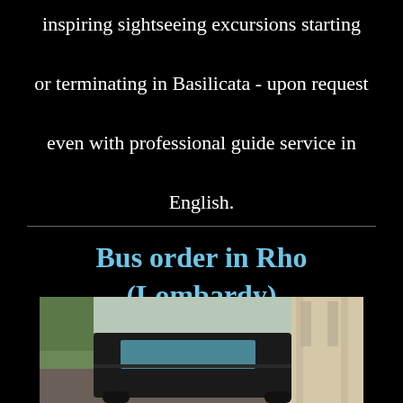inspiring sightseeing excursions starting or terminating in Basilicata - upon request even with professional guide service in English.
Bus order in Rho (Lombardy)
[Figure (photo): A dark-colored bus/minivan parked in front of a building with columns, with trees visible in the background]